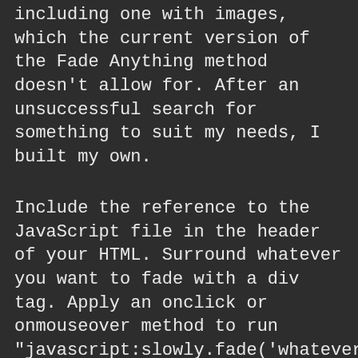including one with images, which the current version of the Fade Anything method doesn't allow for. After an unsuccessful search for something to suit my needs, I built my own.
Include the reference to the JavaScript file in the header of your HTML. Surround whatever you want to fade with a div tag. Apply an onclick or onmouseover method to run "javascript:slowly.fade('whatever');", making sure to assign an id to the div tag to match (i.e. id="whatever").
var opacity = 96; // Avoid starting at 100% due to Mozilla bug